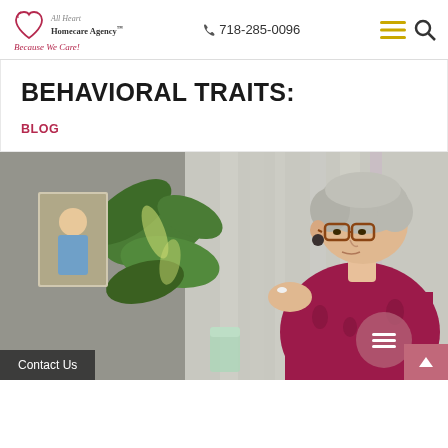All Heart Homecare Agency Because We Care! | 718-285-0096
BEHAVIORAL TRAITS:
BLOG
[Figure (photo): An elderly woman with short gray hair and glasses, wearing a red/magenta patterned top, holds a pill and a glass of water. Behind her is a large leafy green plant and a framed photograph on a desk. The setting appears to be a home environment.]